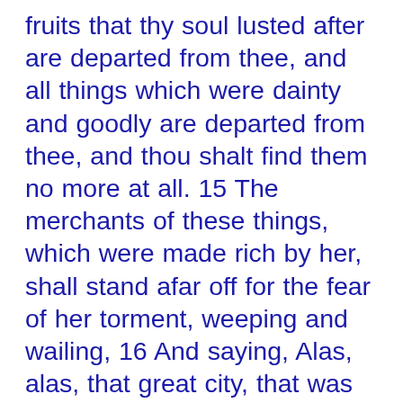fruits that thy soul lusted after are departed from thee, and all things which were dainty and goodly are departed from thee, and thou shalt find them no more at all. 15 The merchants of these things, which were made rich by her, shall stand afar off for the fear of her torment, weeping and wailing, 16 And saying, Alas, alas, that great city, that was clothed in fine linen, and purple, and scarlet, and decked with gold, and precious stones, and pearls! 17 For in one hour so great riches is come to nought. And every shipmaster, and all the company in ships, and sailors, and as many as trade by sea, stood afar off, 18 And cried when they saw the smoke of her burning, saying, What city is like unto this great city! 19 And they cast dust on their heads, and cried, weeping and wailing, saying, Alas, alas, that great city, wherein were made